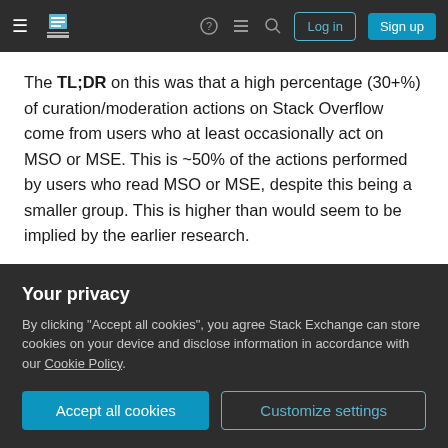Stack Exchange navigation bar with hamburger menu, logo, help, chat, search icons, Log in and Sign up buttons
The TL;DR on this was that a high percentage (30+%) of curation/moderation actions on Stack Overflow come from users who at least occasionally act on MSO or MSE. This is ~50% of the actions performed by users who read MSO or MSE, despite this being a smaller group. This is higher than would seem to be implied by the earlier research.
59% / 64% of flags created on SO are created by users who had engaged on MSO/MSE in the [past 30/60 days]
Your privacy
By clicking "Accept all cookies", you agree Stack Exchange can store cookies on your device and disclose information in accordance with our Cookie Policy.
Accept all cookies
Customize settings